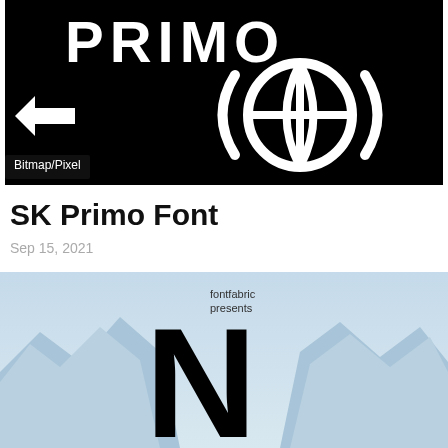[Figure (illustration): SK Primo font promotional image on black background showing the text PRIMO in large white bold letters, a white left-pointing arrow on the left, and a globe icon flanked by parentheses on the right. A 'Bitmap/Pixel' label appears in the lower left corner of the image.]
SK Primo Font
Sep 15, 2021
[Figure (illustration): Fontfabric presents promotional image with a large bold black letter N in the center, set against a light blue mountainous landscape background with mountain peaks visible at the bottom. Small text reads 'fontfabric presents'.]